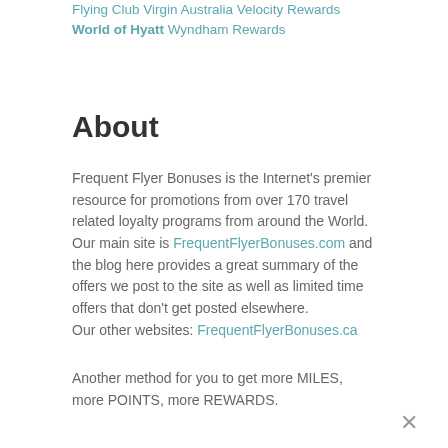Flying Club Virgin Australia Velocity Rewards World of Hyatt Wyndham Rewards
About
Frequent Flyer Bonuses is the Internet's premier resource for promotions from over 170 travel related loyalty programs from around the World. Our main site is FrequentFlyerBonuses.com and the blog here provides a great summary of the offers we post to the site as well as limited time offers that don't get posted elsewhere.
Our other websites: FrequentFlyerBonuses.ca
Another method for you to get more MILES, more POINTS, more REWARDS.